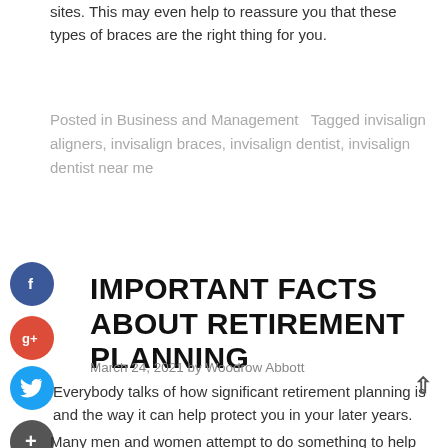sites. This may even help to reassure you that these types of braces are the right thing for you.
Posted in Business and Management  Tagged invisalign aligners, invisalign braces, invisalign dentist, invisalign dentist near me
IMPORTANT FACTS ABOUT RETIREMENT PLANNING
March 24, 2021 by Woodrow Abbott
Everybody talks of how significant retirement planning is and the way it can help protect you in your later years.
Many men and women attempt to do something to help